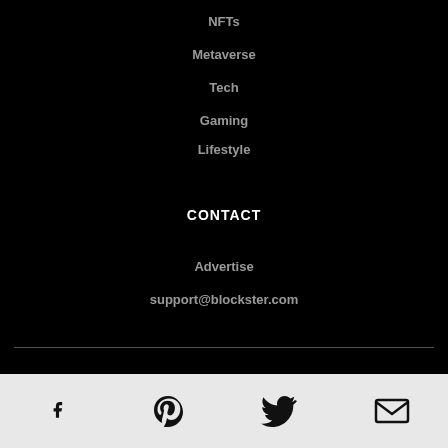NFTs
Metaverse
Tech
Gaming
Lifestyle
CONTACT
Advertise
support@blockster.com
© 2022 Blockster. All rights reserved
[Figure (other): Social media icons: Facebook, Pinterest, Twitter, Email]